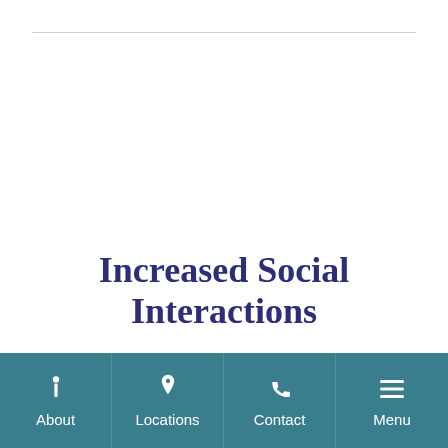Increased Social Interactions
Improved communication leads to a boost in confidence and more social activities
About | Locations | Contact | Menu